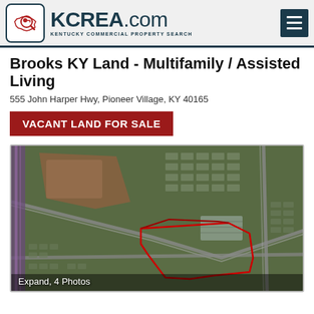KCREA.com — KENTUCKY COMMERCIAL PROPERTY SEARCH
Brooks KY Land - Multifamily / Assisted Living
555 John Harper Hwy, Pioneer Village, KY 40165
VACANT LAND FOR SALE
[Figure (photo): Aerial satellite view of the property parcel at 555 John Harper Hwy, Pioneer Village, KY. The parcel boundary is outlined in red. Surrounding area shows residential subdivisions, roads, and green spaces.]
Expand, 4 Photos